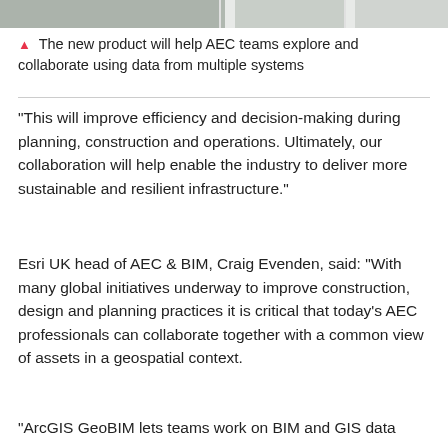[Figure (photo): Partial image strip at top of page showing engineering/construction related images]
▲ The new product will help AEC teams explore and collaborate using data from multiple systems
“This will improve efficiency and decision-making during planning, construction and operations. Ultimately, our collaboration will help enable the industry to deliver more sustainable and resilient infrastructure.”
Esri UK head of AEC & BIM, Craig Evenden, said: “With many global initiatives underway to improve construction, design and planning practices it is critical that today’s AEC professionals can collaborate together with a common view of assets in a geospatial context.
“ArcGIS GeoBIM lets teams work on BIM and GIS data